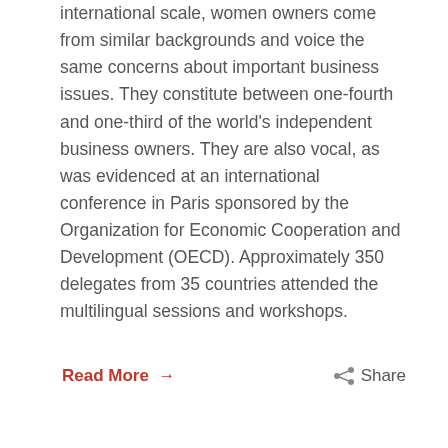international scale, women owners come from similar backgrounds and voice the same concerns about important business issues. They constitute between one-fourth and one-third of the world's independent business owners. They are also vocal, as was evidenced at an international conference in Paris sponsored by the Organization for Economic Cooperation and Development (OECD). Approximately 350 delegates from 35 countries attended the multilingual sessions and workshops.
Read More →
Share